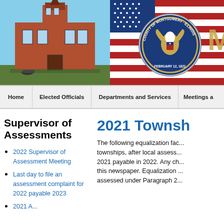[Figure (photo): Header image showing a red brick courthouse building on the left and the County of Montgomery, Illinois seal (eagle, February 12, 1821) overlaid on an American flag on the right.]
Home | Elected Officials | Departments and Services | Meetings a...
Supervisor of Assessments
2021 Townsh...
2022 Supervisor of Assessment Meeting
Last day to file an assessment complaint for 2022 payable 2023
2021 A...
The following equalization fac... townships, after local assess... 2021 payable in 2022. Any ch... this newspaper. Equalization ... assessed under Paragraph 2...